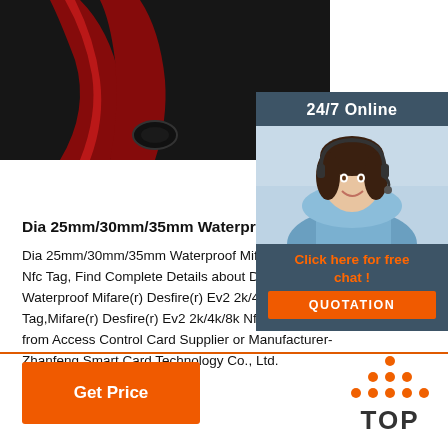[Figure (photo): Close-up photo of a red and black NFC wristband/tag product]
[Figure (photo): 24/7 Online chat widget with photo of customer service agent, orange QUOTATION button]
Dia 25mm/30mm/35mm Waterproof Mifare(R) Desfi
Dia 25mm/30mm/35mm Waterproof Mifare(r) Desfire(r) Ev2 2k/4k/8k Nfc Tag, Find Complete Details about Dia 25mm/30mm Waterproof Mifare(r) Desfire(r) Ev2 2k/4k/8k Nfc Tag,Nfc Tag,Mifare(r) Desfire(r) Ev2 2k/4k/8k Nfc Tag,Waterproof Nfc Tag from Access Control Card Supplier or Manufacturer-Zhanfeng Smart Card Technology Co., Ltd.
[Figure (logo): TOP logo with orange dots arranged in triangle above the word TOP]
Get Price